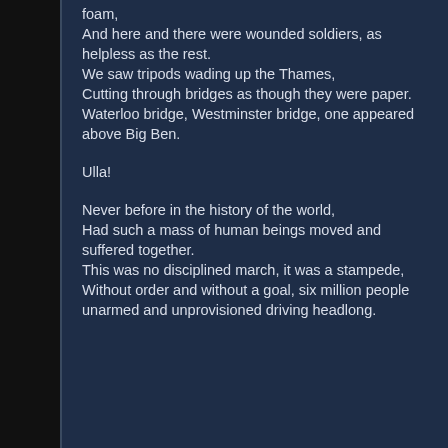foam,
And here and there were wounded soldiers, as helpless as the rest.
We saw tripods wading up the Thames,
Cutting through bridges as though they were paper.
Waterloo bridge, Westminster bridge, one appeared above Big Ben.

Ulla!

Never before in the history of the world,
Had such a mass of human beings moved and suffered together.
This was no disciplined march, it was a stampede,
Without order and without a goal, six million people unarmed and unprovisioned driving headlong.